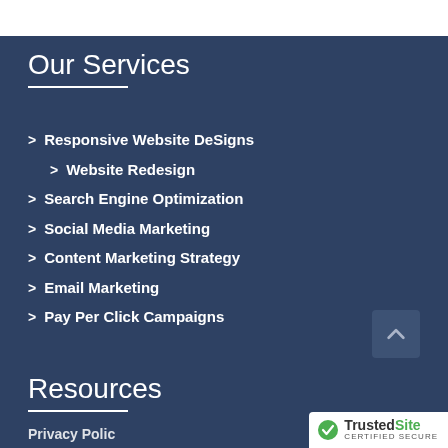Our Services
> Responsive Website DeSigns
> Website Redesign
> Search Engine Optimization
> Social Media Marketing
> Content Marketing Strategy
> Email Marketing
> Pay Per Click Campaigns
Resources
Privacy Policy
[Figure (logo): TrustedSite Certified Secure badge]